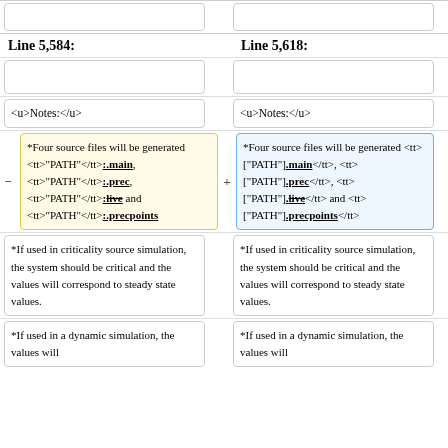Line 5,584:
Line 5,618:
<u>Notes:</u>
<u>Notes:</u>
*Four source files will be generated <tt>"PATH"</tt>:.main, <tt>"PATH"</tt>:.prec, <tt>"PATH"</tt>:.live and <tt>"PATH"</tt>:.precpoints
*Four source files will be generated <tt>["PATH"].main</tt>, <tt>["PATH"].prec</tt>, <tt>["PATH"].live</tt> and <tt>["PATH"].precpoints</tt>
*If used in criticality source simulation, the system should be critical and the values will correspond to steady state values.
*If used in criticality source simulation, the system should be critical and the values will correspond to steady state values.
*If used in a dynamic simulation, the values will
*If used in a dynamic simulation, the values will